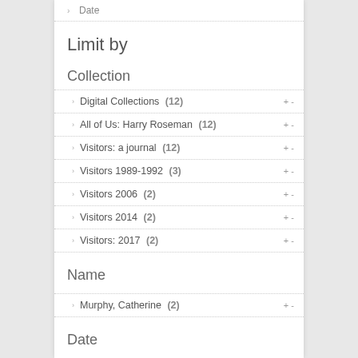Date
Limit by
Collection
Digital Collections (12)
All of Us: Harry Roseman (12)
Visitors: a journal (12)
Visitors 1989-1992 (3)
Visitors 2006 (2)
Visitors 2014 (2)
Visitors: 2017 (2)
Name
Murphy, Catherine (2)
Date